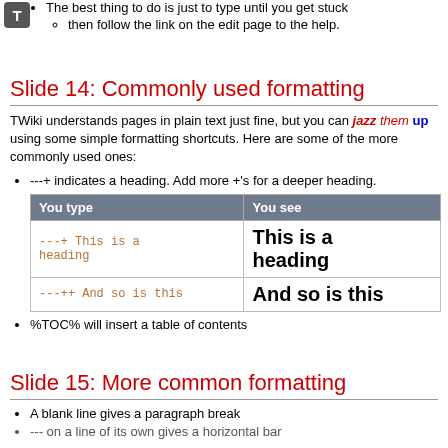[Figure (logo): TWiki 'T' icon, dark gray rounded square with white T]
The best thing to do is just to type until you get stuck
then follow the link on the edit page to the help.
Slide 14: Commonly used formatting
TWiki understands pages in plain text just fine, but you can jazz them up using some simple formatting shortcuts. Here are some of the more commonly used ones:
---+ indicates a heading. Add more +'s for a deeper heading.
| You type | You see |
| --- | --- |
| ---+ This is a heading | This is a heading |
| ---++ And so is this | And so is this |
%TOC% will insert a table of contents
Slide 15: More common formatting
A blank line gives a paragraph break
--- on a line of its own gives a horizontal bar